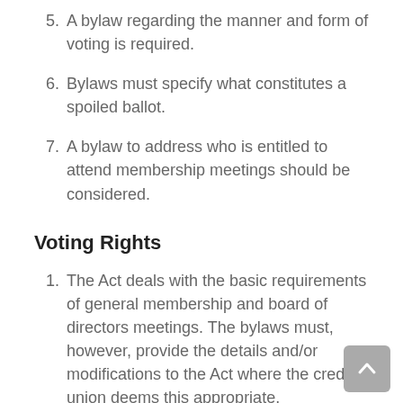5. A bylaw regarding the manner and form of voting is required.
6. Bylaws must specify what constitutes a spoiled ballot.
7. A bylaw to address who is entitled to attend membership meetings should be considered.
Voting Rights
1. The Act deals with the basic requirements of general membership and board of directors meetings. The bylaws must, however, provide the details and/or modifications to the Act where the credit union deems this appropriate.